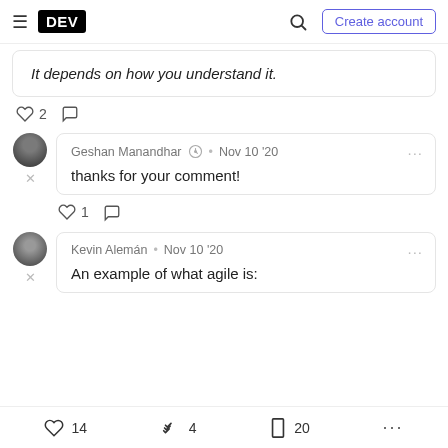DEV | Create account
It depends on how you understand it.
♡ 2  ○
Geshan Manandhar • Nov 10 '20
thanks for your comment!
♡ 1  ○
Kevin Alemán • Nov 10 '20
An example of what agile is:
♡ 14  🁢 4  □ 20  ...